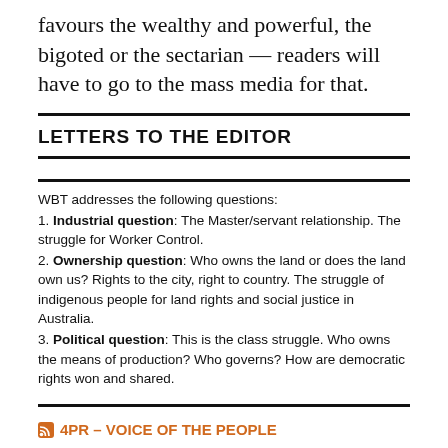favours the wealthy and powerful, the bigoted or the sectarian — readers will have to go to the mass media for that.
LETTERS TO THE EDITOR
WBT addresses the following questions:
1. Industrial question: The Master/servant relationship. The struggle for Worker Control.
2. Ownership question: Who owns the land or does the land own us? Rights to the city, right to country. The struggle of indigenous people for land rights and social justice in Australia.
3. Political question: This is the class struggle. Who owns the means of production? Who governs? How are democratic rights won and shared.
4PR – VOICE OF THE PEOPLE